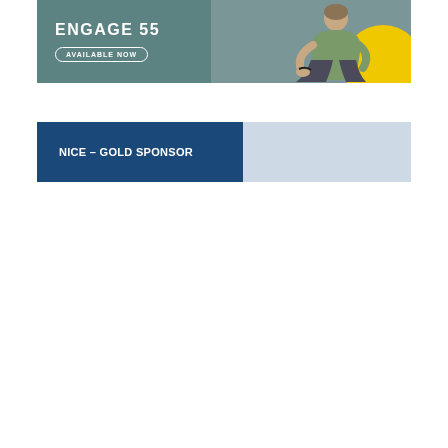[Figure (illustration): Banner advertisement for Engage 55 product with gray/teal background, text reading ENGAGE 55 and AVAILABLE NOW button, person sitting cross-legged on right side, yellow circle accent]
NICE – GOLD SPONSOR